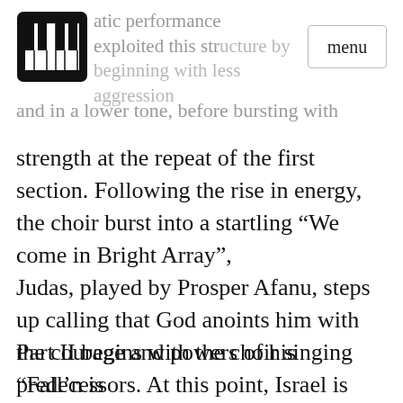atic performance exploited this structure by beginning with less aggression and in a lower tone, before bursting with strength at the repeat of the first section.
[Figure (logo): Piano/keyboard app logo — black and white piano keys icon in a square]
menu
and in a lower tone, before bursting with strength at the repeat of the first section. Following the rise in energy, the choir burst into a startling “We come in Bright Array”,
Judas, played by Prosper Afanu, steps up calling that God anoints him with the courage and powers of his predecessors. At this point, Israel is hopeful and urge Judas on. Part one ended with choir singing “Hear us, O Lord”.
Part II begins with the choir singing “Fall’n is